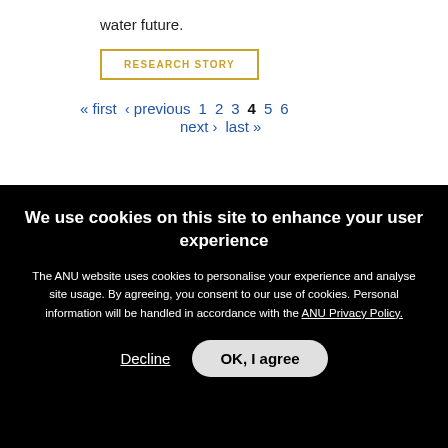water future.
RESEARCH STORY
« first  ‹ previous  1  2  3  4  5  6  next ›  last »
Contact ANU
Copyright
We use cookies on this site to enhance your user experience
The ANU website uses cookies to personalise your experience and analyse site usage. By agreeing, you consent to our use of cookies. Personal information will be handled in accordance with the ANU Privacy Policy.
Decline  OK, I agree